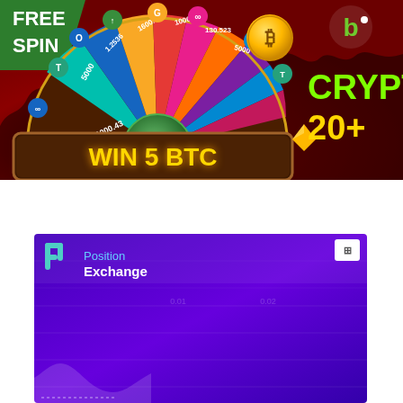[Figure (infographic): Crypto casino advertisement banner with spinning wheel showing prize amounts (5000, 130.523, 1000.43, 1600.43, 1.2536, 5000), WIN 5 BTC text at bottom, FREE SPIN badge top left, Bitcoin coin, and gold gem. Right side shows partial text CRYPT and 20+]
[Figure (screenshot): Position Exchange advertisement banner with purple background, P logo, Position Exchange text, and a partially visible chart/graph]